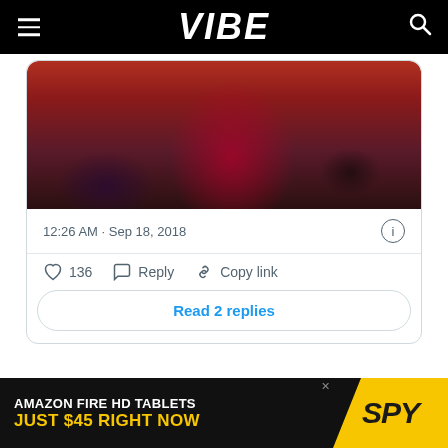VIBE
[Figure (screenshot): Screenshot of a tweet showing a crowd photo from behind with a person with bright red/pink hair visible, tweet timestamp 12:26 AM · Sep 18, 2018, with 136 likes, Reply and Copy link actions, and a Read 2 replies button]
READ MORE: Yeezy Season: Is Kanye West Teasing New Music Via Instagram?
[Figure (infographic): Ad banner: AMAZON FIRE HD TABLETS JUST $45 RIGHT NOW with SPY logo on yellow background]